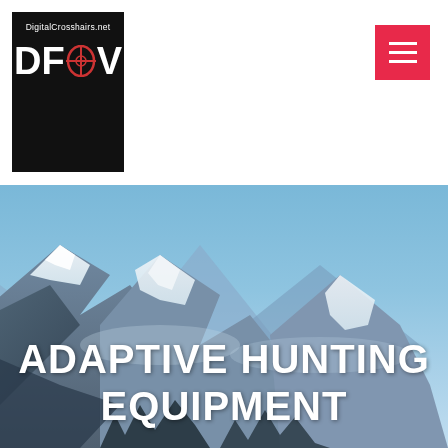[Figure (logo): DigitalCrosshairs.net DFOV logo — black background with white text, showing site name and DFOV lettering with crosshair scope symbol replacing the O]
[Figure (screenshot): Red hamburger menu button (three white horizontal lines on crimson/red square background) in top-right corner of navigation bar]
[Figure (photo): Mountain landscape hero image showing snow-capped peaks against a blue sky]
ADAPTIVE HUNTING EQUIPMENT